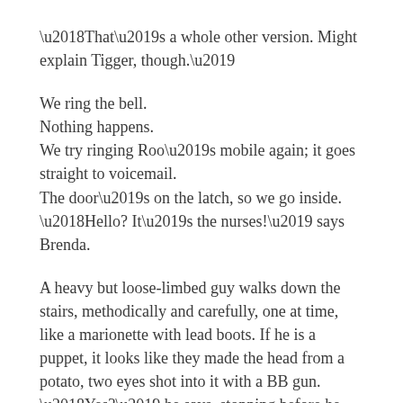‘That’s a whole other version. Might explain Tigger, though.’
We ring the bell.
Nothing happens.
We try ringing Roo’s mobile again; it goes straight to voicemail.
The door’s on the latch, so we go inside.
‘Hello? It’s the nurses!’ says Brenda.
A heavy but loose-limbed guy walks down the stairs, methodically and carefully, one at time, like a marionette with lead boots. If he is a puppet, it looks like they made the head from a potato, two eyes shot into it with a BB gun.
‘Yes?’ he says, stopping before he reaches the bottom, stabilising himself on the gappy bannisters.